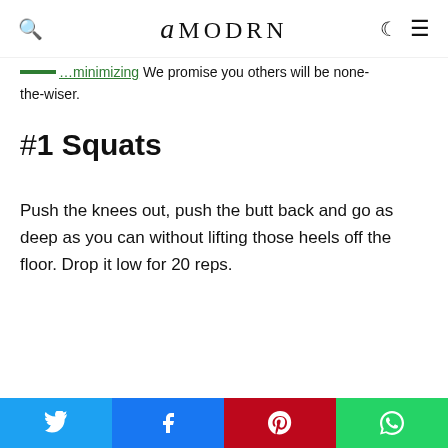AMODRN
… the-wiser.
#1 Squats
Push the knees out, push the butt back and go as deep as you can without lifting those heels off the floor. Drop it low for 20 reps.